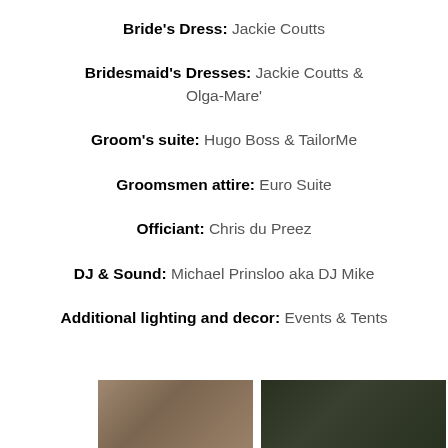Bride's Dress: Jackie Coutts
Bridesmaid's Dresses: Jackie Coutts & Olga-Mare'
Groom's suite: Hugo Boss & TailorMe
Groomsmen attire: Euro Suite
Officiant: Chris du Preez
DJ & Sound: Michael Prinsloo aka DJ Mike
Additional lighting and decor: Events & Tents
[Figure (photo): Two photo thumbnails at the bottom of the page, left photo showing a person outdoors, right photo showing a dark outdoor scene.]